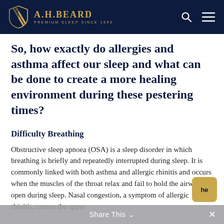A.H.BEARD — PREMIUM SLEEP SINCE 1899
So, how exactly do allergies and asthma affect our sleep and what can be done to create a more healing environment during these pestering times?
Difficulty Breathing
Obstructive sleep apnoea (OSA) is a sleep disorder in which breathing is briefly and repeatedly interrupted during sleep. It is commonly linked with both asthma and allergic rhinitis and occurs when the muscles of the throat relax and fail to hold the airway open during sleep. Nasal congestion, a symptom of allergic rhinitis, causes the upper